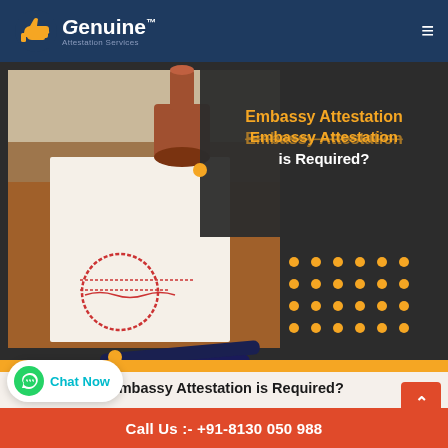Genuine Attestation Services
[Figure (screenshot): Banner image showing a person's hand with documents and a stamp, with text overlay: Embassy Attestation is Required? and decorative gold dots pattern]
When Kuwait Embassy Attestation is Required?
Dec 14, 2017
Call Us :- +91-8130 050 988